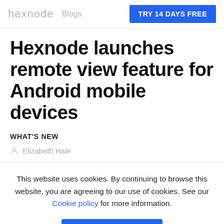hexnode   Blogs   TRY 14 DAYS FREE
Hexnode launches remote view feature for Android mobile devices
WHAT'S NEW
Elizabeth Hale
This website uses cookies. By continuing to browse this website, you are agreeing to our use of cookies. See our Cookie policy for more information.
I ACCEPT